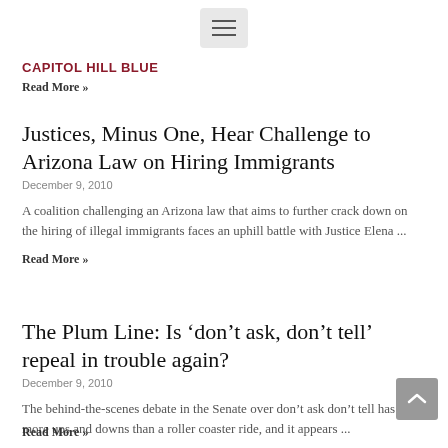CAPITOL HILL BLUE
Read More »
Justices, Minus One, Hear Challenge to Arizona Law on Hiring Immigrants
December 9, 2010
A coalition challenging an Arizona law that aims to further crack down on the hiring of illegal immigrants faces an uphill battle with Justice Elena ...
Read More »
The Plum Line: Is ‘don’t ask, don’t tell’ repeal in trouble again?
December 9, 2010
The behind-the-scenes debate in the Senate over don’t ask don’t tell has had more ups and downs than a roller coaster ride, and it appears ...
Read More »